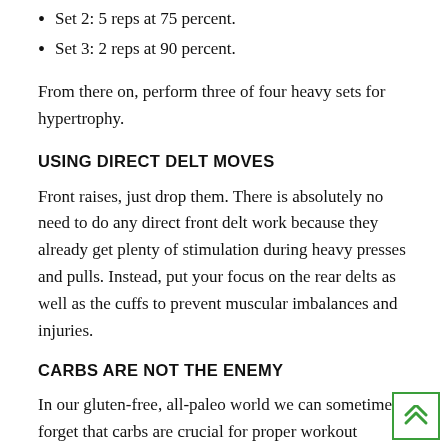Set 2: 5 reps at 75 percent.
Set 3: 2 reps at 90 percent.
From there on, perform three of four heavy sets for hypertrophy.
USING DIRECT DELT MOVES
Front raises, just drop them. There is absolutely no need to do any direct front delt work because they already get plenty of stimulation during heavy presses and pulls. Instead, put your focus on the rear delts as well as the cuffs to prevent muscular imbalances and injuries.
CARBS ARE NOT THE ENEMY
In our gluten-free, all-paleo world we can sometimes forget that carbs are crucial for proper workout